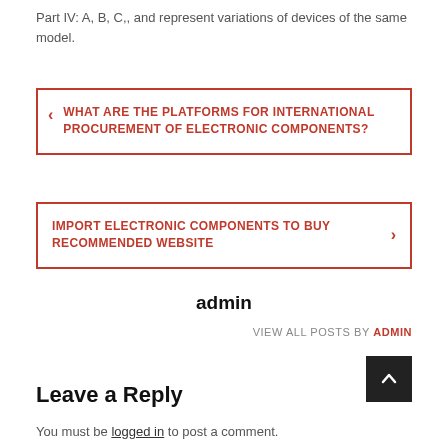Part IV: A, B, C,, and represent variations of devices of the same model.
< WHAT ARE THE PLATFORMS FOR INTERNATIONAL PROCUREMENT OF ELECTRONIC COMPONENTS?
IMPORT ELECTRONIC COMPONENTS TO BUY RECOMMENDED WEBSITE >
admin
VIEW ALL POSTS BY ADMIN
Leave a Reply
You must be logged in to post a comment.